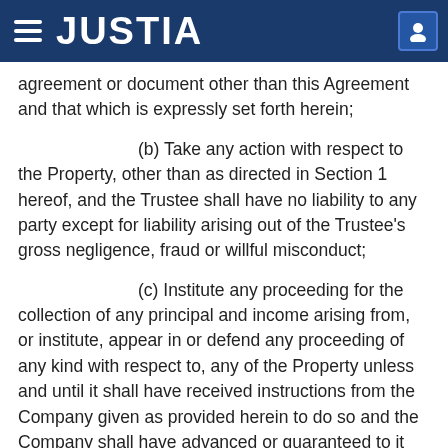JUSTIA
agreement or document other than this Agreement and that which is expressly set forth herein;
(b) Take any action with respect to the Property, other than as directed in Section 1 hereof, and the Trustee shall have no liability to any party except for liability arising out of the Trustee's gross negligence, fraud or willful misconduct;
(c) Institute any proceeding for the collection of any principal and income arising from, or institute, appear in or defend any proceeding of any kind with respect to, any of the Property unless and until it shall have received instructions from the Company given as provided herein to do so and the Company shall have advanced or guaranteed to it funds sufficient to pay any expenses incident thereto;